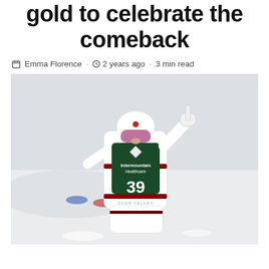gold to celebrate the comeback
Emma Florence · 2 years ago · 3 min read
[Figure (photo): A freestyle moguls skier wearing bib number 39 with Intermountain Healthcare sponsor vest and a white helmet, raising one finger in celebration. Snowy conditions with Deer Valley visible on the vest. Red and blue gate markers in the background.]